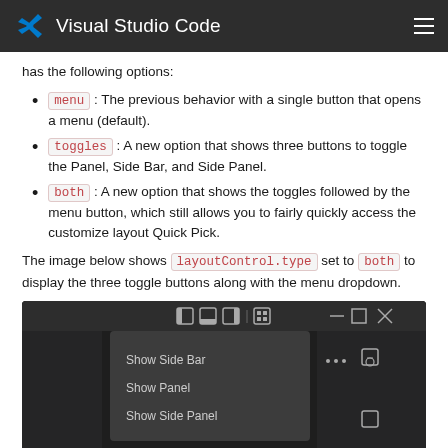Visual Studio Code
has the following options:
menu : The previous behavior with a single button that opens a menu (default).
toggles : A new option that shows three buttons to toggle the Panel, Side Bar, and Side Panel.
both : A new option that shows the toggles followed by the menu button, which still allows you to fairly quickly access the customize layout Quick Pick.
The image below shows layoutControl.type set to both to display the three toggle buttons along with the menu dropdown.
[Figure (screenshot): A screenshot of a VS Code window titlebar showing toggle buttons for Side Bar, Panel, Side Panel, and a dropdown menu with options: Show Side Bar, Show Panel, Show Side Panel.]